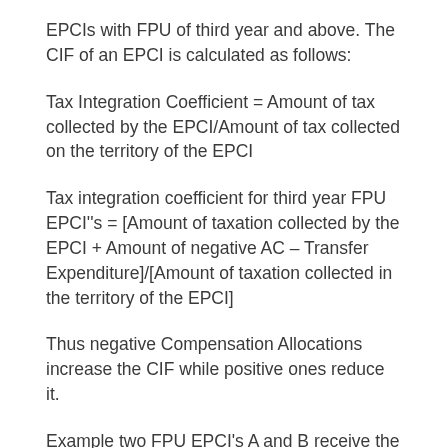EPCIs with FPU of third year and above. The CIF of an EPCI is calculated as follows:
Tax Integration Coefficient = Amount of tax collected by the EPCI/Amount of tax collected on the territory of the EPCI
Tax integration coefficient for third year FPU EPCI''s = [Amount of taxation collected by the EPCI + Amount of negative AC – Transfer Expenditure]/[Amount of taxation collected in the territory of the EPCI]
Thus negative Compensation Allocations increase the CIF while positive ones reduce it.
Example two FPU EPCI's A and B receive the